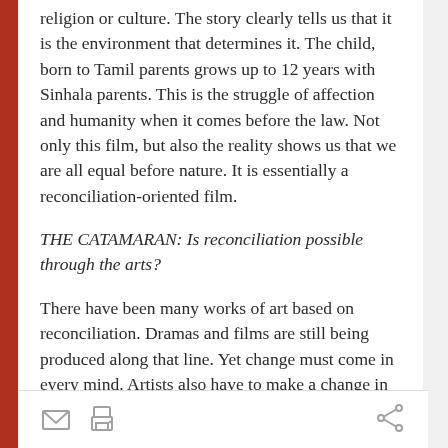The birth of a child does not determine in religion or culture. The story clearly tells us that it is the environment that determines it. The child, born to Tamil parents grows up to 12 years with Sinhala parents. This is the struggle of affection and humanity when it comes before the law. Not only this film, but also the reality shows us that we are all equal before nature. It is essentially a reconciliation-oriented film.
THE CATAMARAN: Is reconciliation possible through the arts?
There have been many works of art based on reconciliation. Dramas and films are still being produced along that line. Yet change must come in every mind. Artists also have to make a change in themselves. That is what will make reconciliation possible.